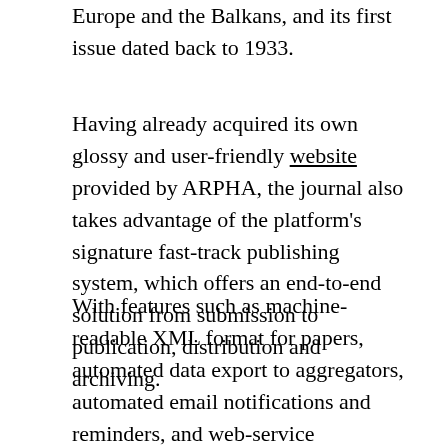Europe and the Balkans, and its first issue dated back to 1933.
Having already acquired its own glossy and user-friendly website provided by ARPHA, the journal also takes advantage of the platform's signature fast-track publishing system, which offers an end-to-end solution from submission to publication, distribution and archiving.
With features such as machine-readable XML format for papers, automated data export to aggregators, automated email notifications and reminders, and web-service integrations with major global indexing databases, the easy-to-use, open-access platform ensures that published research is easy to discover, access, cite and reuse by both humans and machines all over the world. The journal is now indexed in the likes of Crossref, Google Scholar, OpenCitations, Publons and Scibey, and archived